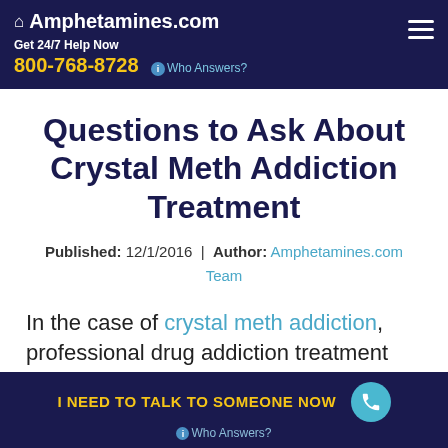Amphetamines.com — Get 24/7 Help Now 800-768-8728 | Who Answers?
Questions to Ask About Crystal Meth Addiction Treatment
Published: 12/1/2016 | Author: Amphetamines.com Team
In the case of crystal meth addiction, professional drug addiction treatment offers
I NEED TO TALK TO SOMEONE NOW — Who Answers?